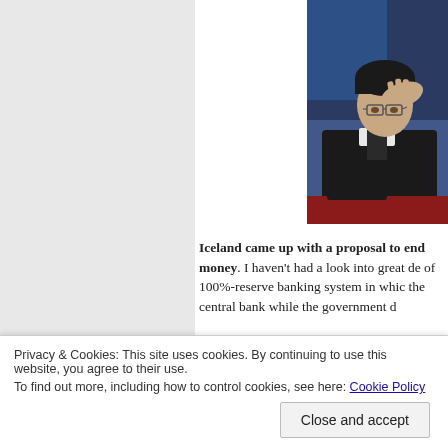[Figure (photo): A man in a dark suit with glasses, resting his head on his hand in a stressed or exasperated pose, sitting at what appears to be a TV desk. Background has blue lighting. Appears to be a TV show host or personality.]
Iceland came up with a proposal to end money. I haven't had a look into great de of 100%-reserve banking system in whic the central bank while the government d
Privacy & Cookies: This site uses cookies. By continuing to use this website, you agree to their use.
To find out more, including how to control cookies, see here: Cookie Policy
Close and accept